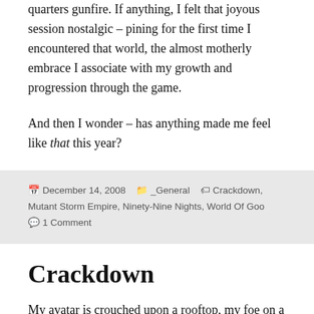quarters gunfire. If anything, I felt that joyous session nostalgic – pining for the first time I encountered that world, the almost motherly embrace I associate with my growth and progression through the game.
And then I wonder – has anything made me feel like that this year?
December 14, 2008   _General   Crackdown, Mutant Storm Empire, Ninety-Nine Nights, World Of Goo   1 Comment
Crackdown
My avatar is crouched upon a rooftop, my foe on a rooftop two buildings away. A tiny overhang protects me from their gunfire, situated on the corner of